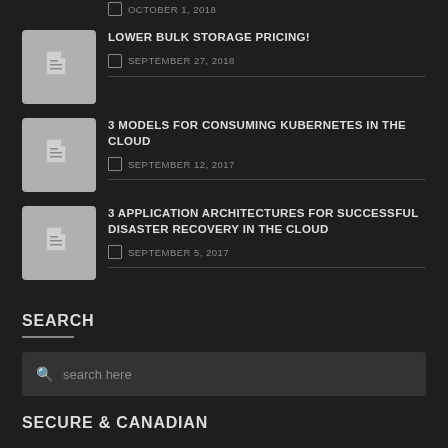OCTOBER 1, 2018
LOWER BULK STORAGE PRICING!
SEPTEMBER 27, 2018
3 MODELS FOR CONSUMING KUBERNETES IN THE CLOUD
SEPTEMBER 12, 2017
3 APPLICATION ARCHITECTURES FOR SUCCESSFUL DISASTER RECOVERY IN THE CLOUD
SEPTEMBER 5, 2017
SEARCH
search here
SECURE & CANADIAN